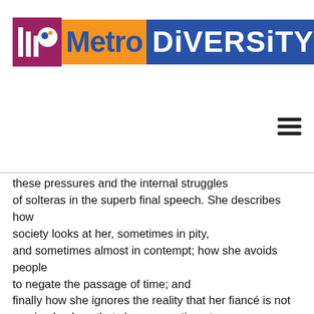[Figure (logo): Metro Diversity logo with stylized 'M' icon in purple/maroon square, 'Metro' text in blue on orange background, 'DIVERSITY' text in white on blue background]
[Figure (other): Hamburger menu icon (three horizontal lines)]
these pressures and the internal struggles of solteras in the superb final speech. She describes how society looks at her, sometimes in pity, and sometimes almost in contempt; how she avoids people to negate the passage of time; and finally how she ignores the reality that her fiancé is not coming back so that she can continue to live under the illusion that she is promised to him, which makes her more accepted and liked by society. Around her, life continues, her friends have children and the children have courtesans. Likely intended by Lorca, the role of men does not loom large, but their impact certainly does. Rosita's life is devastated (in her eyes and in the eyes of society) because of a man. The